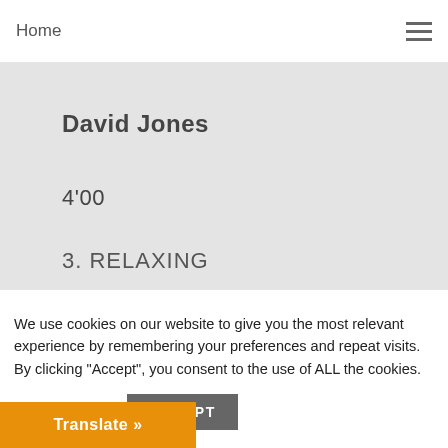featuring guitar
Home
David Jones
4'00
3. RELAXING
We use cookies on our website to give you the most relevant experience by remembering your preferences and repeat visits. By clicking "Accept", you consent to the use of ALL the cookies.
Cookie settings
ACCEPT
Translate »